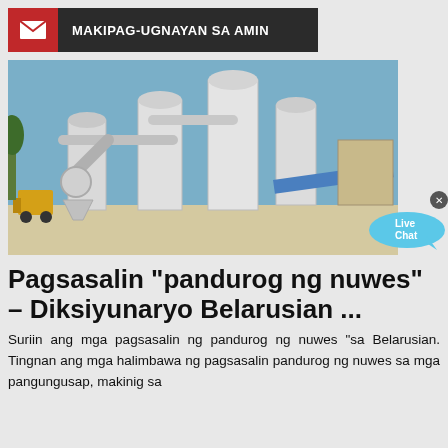MAKIPAG-UGNAYAN SA AMIN
[Figure (photo): Industrial milling/grinding machine equipment with white cylindrical silos, pipes, and conveyor belt on an outdoor construction site under blue sky. A yellow forklift is visible on the left.]
Pagsasalin "pandurog ng nuwes" – Diksiyunaryo Belarusian ...
Suriin ang mga pagsasalin ng pandurog ng nuwes "sa Belarusian. Tingnan ang mga halimbawa ng pagsasalin pandurog ng nuwes sa mga pangungusap, makinig sa